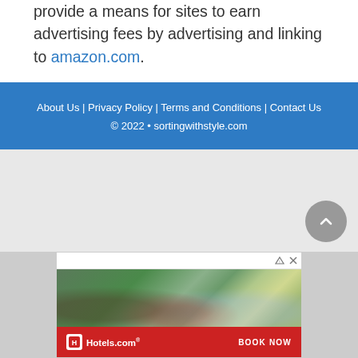provide a means for sites to earn advertising fees by advertising and linking to amazon.com.
About Us | Privacy Policy | Terms and Conditions | Contact Us
© 2022 • sortingwithstyle.com
[Figure (screenshot): Advertisement banner for Hotels.com with a beach/pool vacation scene image and a red bottom bar with Hotels.com logo and BOOK NOW button]